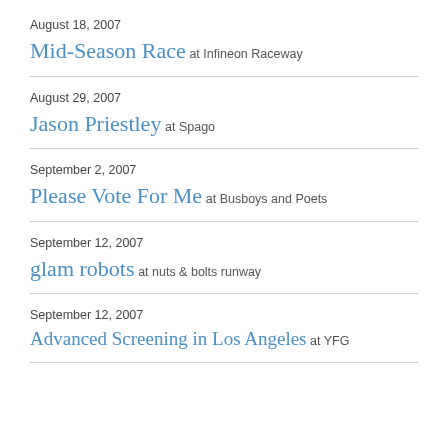August 18, 2007
Mid-Season Race at Infineon Raceway
August 29, 2007
Jason Priestley at Spago
September 2, 2007
Please Vote For Me at Busboys and Poets
September 12, 2007
glam robots at nuts & bolts runway
September 12, 2007
Advanced Screening in Los Angeles at YFG